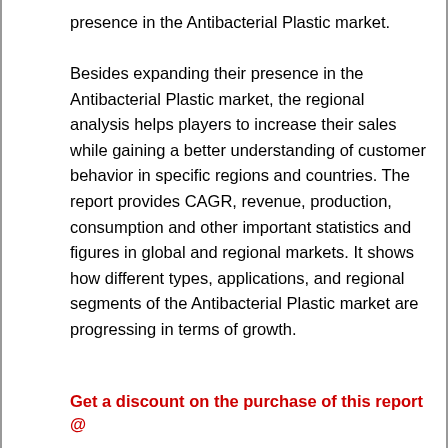presence in the Antibacterial Plastic market. Besides expanding their presence in the Antibacterial Plastic market, the regional analysis helps players to increase their sales while gaining a better understanding of customer behavior in specific regions and countries. The report provides CAGR, revenue, production, consumption and other important statistics and figures in global and regional markets. It shows how different types, applications, and regional segments of the Antibacterial Plastic market are progressing in terms of growth.
Get a discount on the purchase of this report @